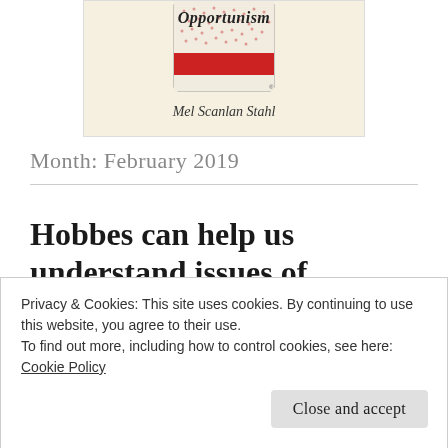[Figure (illustration): Book cover illustration showing a can labeled 'Opportunism' with a red banner/stripe across it, on a cream/beige background. Below the can reads the author name 'Mel Scanlan Stahl' in cursive script.]
Month: February 2019
Hobbes can help us understand issues of governance.
Privacy & Cookies: This site uses cookies. By continuing to use this website, you agree to their use.
To find out more, including how to control cookies, see here:
Cookie Policy
Close and accept